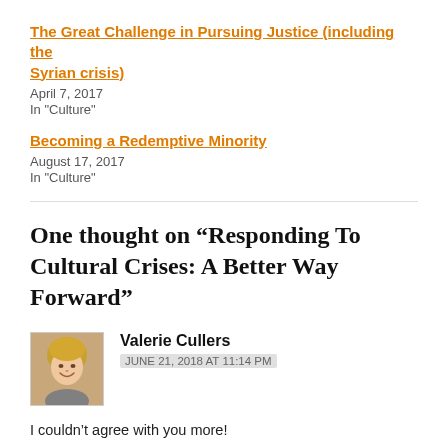The Great Challenge in Pursuing Justice (including the Syrian crisis)
April 7, 2017
In "Culture"
Becoming a Redemptive Minority
August 17, 2017
In "Culture"
One thought on “Responding To Cultural Crises: A Better Way Forward”
Valerie Cullers
JUNE 21, 2018 AT 11:14 PM
I couldn’t agree with you more!